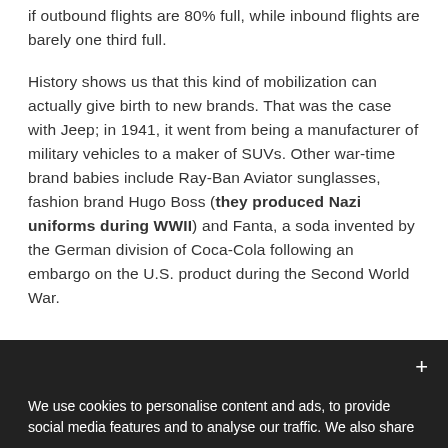if outbound flights are 80% full, while inbound flights are barely one third full.
History shows us that this kind of mobilization can actually give birth to new brands. That was the case with Jeep; in 1941, it went from being a manufacturer of military vehicles to a maker of SUVs. Other war-time brand babies include Ray-Ban Aviator sunglasses, fashion brand Hugo Boss (they produced Nazi uniforms during WWII) and Fanta, a soda invented by the German division of Coca-Cola following an embargo on the U.S. product during the Second World War.
We use cookies to personalise content and ads, to provide social media features and to analyse our traffic. We also share